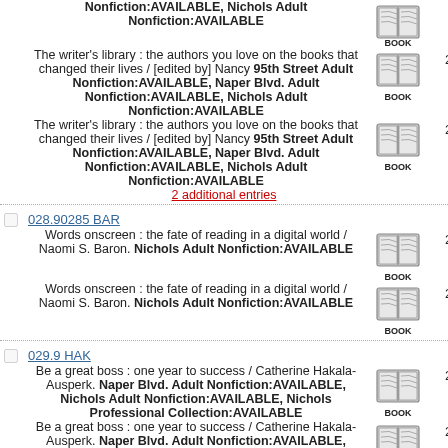Nonfiction:AVAILABLE, Nichols Adult Nonfiction:AVAILABLE
The writer's library : the authors you love on the books that changed their lives / [edited by] Nancy 95th Street Adult Nonfiction:AVAILABLE, Naper Blvd. Adult Nonfiction:AVAILABLE, Nichols Adult Nonfiction:AVAILABLE — 2020 BOOK
The writer's library : the authors you love on the books that changed their lives / [edited by] Nancy 95th Street Adult Nonfiction:AVAILABLE, Naper Blvd. Adult Nonfiction:AVAILABLE, Nichols Adult Nonfiction:AVAILABLE — 2020 BOOK
2 additional entries
028.90285 BAR
Words onscreen : the fate of reading in a digital world / Naomi S. Baron. Nichols Adult Nonfiction:AVAILABLE — 2015 BOOK
Words onscreen : the fate of reading in a digital world / Naomi S. Baron. Nichols Adult Nonfiction:AVAILABLE — 2015 BOOK
029.9 HAK
Be a great boss : one year to success / Catherine Hakala-Ausperk. Naper Blvd. Adult Nonfiction:AVAILABLE, Nichols Adult Nonfiction:AVAILABLE, Nichols Professional Collection:AVAILABLE — 2011 BOOK
Be a great boss : one year to success / Catherine Hakala-Ausperk. Naper Blvd. Adult Nonfiction:AVAILABLE, Nichols Adult Nonfiction:AVAILABLE, Nichols Professional Collection:AVAILABLE — 2011 BOOK
Be a great boss : one year to success / Catherine Hakala-Ausperk. Naper Blvd. Adult Nonfiction:AVAILABLE, Nichols Adult — 2011 BOOK